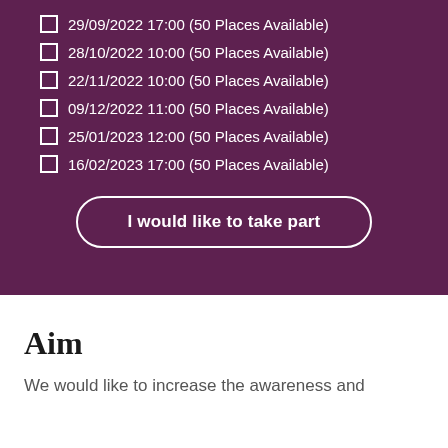29/09/2022 17:00 (50 Places Available)
28/10/2022 10:00 (50 Places Available)
22/11/2022 10:00 (50 Places Available)
09/12/2022 11:00 (50 Places Available)
25/01/2023 12:00 (50 Places Available)
16/02/2023 17:00 (50 Places Available)
I would like to take part
Aim
We would like to increase the awareness and